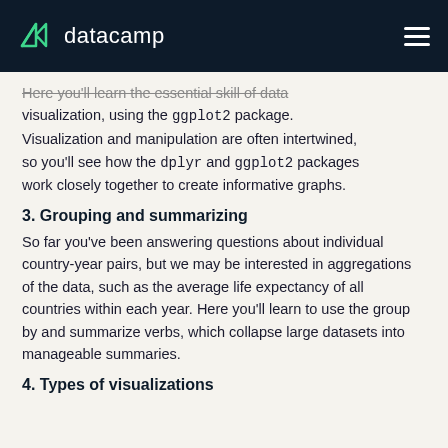datacamp
Here you'll learn the essential skill of data visualization, using the ggplot2 package. Visualization and manipulation are often intertwined, so you'll see how the dplyr and ggplot2 packages work closely together to create informative graphs.
3. Grouping and summarizing
So far you've been answering questions about individual country-year pairs, but we may be interested in aggregations of the data, such as the average life expectancy of all countries within each year. Here you'll learn to use the group by and summarize verbs, which collapse large datasets into manageable summaries.
4. Types of visualizations